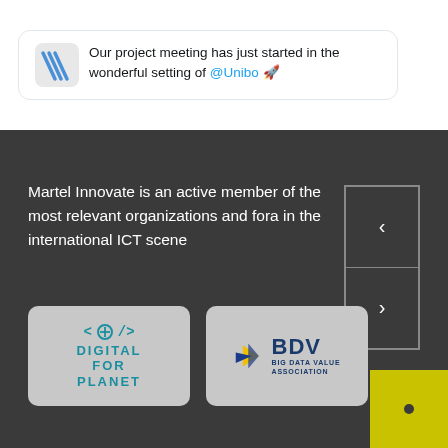[Figure (screenshot): Tweet card showing a social media post: 'Our project meeting has just started in the wonderful setting of @Unibo 🚀']
Martel Innovate is an active member of the most relevant organizations and fora in the international ICT scene
[Figure (logo): Digital For Planet logo - teal/cyan colored logo with code brackets icon and text 'DIGITAL FOR PLANET']
[Figure (logo): BDV Big Data Value Association logo - blue and yellow star/arrow icon with BDV text and full name]